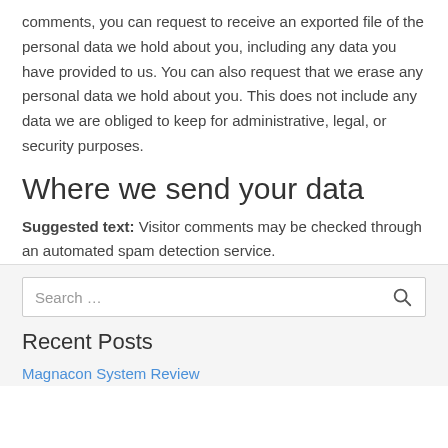comments, you can request to receive an exported file of the personal data we hold about you, including any data you have provided to us. You can also request that we erase any personal data we hold about you. This does not include any data we are obliged to keep for administrative, legal, or security purposes.
Where we send your data
Suggested text: Visitor comments may be checked through an automated spam detection service.
Search …
Recent Posts
Magnacon System Review